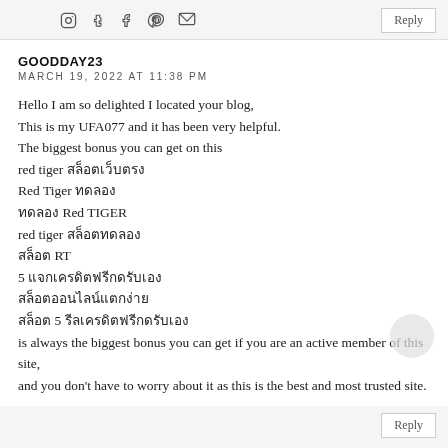social icons: Instagram, Tumblr, Facebook, Pinterest, Email | Reply
GOODDAY23
MARCH 19, 2022 AT 11:38 PM
Hello I am so delighted I located your blog,
This is my UFA077 and it has been very helpful.
The biggest bonus you can get on this
red tiger สล็อตเว็บตรง
Red Tiger ทดลอง
ทดลอง Red TIGER
red tiger สล็อตทดลอง
สล็อต RT
5 แจกเครดิตฟรีกดรับเอง
สล็อตออนไลน์แตกง่าย
สล็อต 5 รีลเครดิตฟรีกดรับเอง
is always the biggest bonus you can get if you are an active member of this site,
and you don't have to worry about it as this is the best and most trusted site.